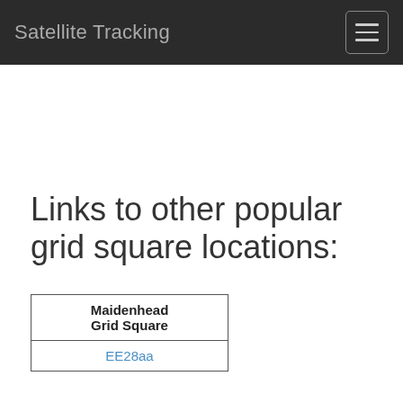Satellite Tracking
Links to other popular grid square locations:
| Maidenhead Grid Square |
| --- |
| EE28aa |